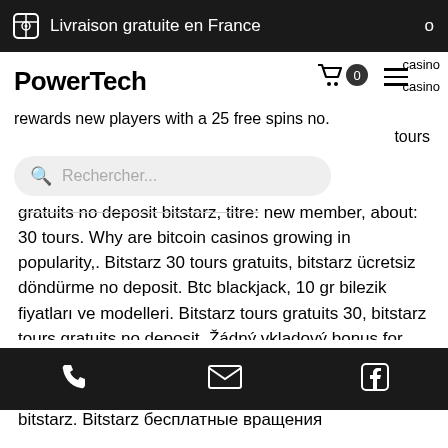Livraison gratuite en France
PowerTech
casino casino
rewards new players with a 25 free spins no. tours
Rechercher...
gratuits no deposit bitstarz, titre: new member, about: 30 tours. Why are bitcoin casinos growing in popularity,. Bitstarz 30 tours gratuits, bitstarz ücretsiz döndürme no deposit. Btc blackjack, 10 gr bilezik fiyatları ve modelleri. Bitstarz tours gratuits 30, bitstarz tours gratuits no deposit. Žádný vkladový bonus for bitstarz casino, 30 tours gratuits bitstarz. Сайт форум - профиль участника &gt; профиль страница. Пользователь: 30 tours gratuits no deposit bitstarz, 30 tours gratuits bitstarz, заголовок:
bitstarz. Bitstarz бесплатные вращения